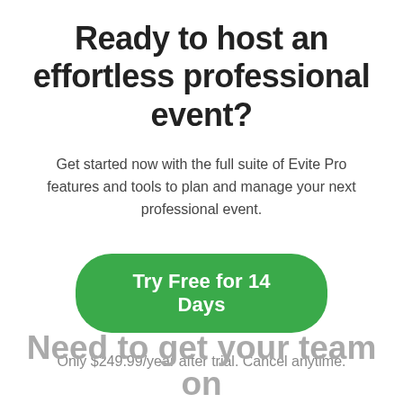Ready to host an effortless professional event?
Get started now with the full suite of Evite Pro features and tools to plan and manage your next professional event.
Try Free for 14 Days
Only $249.99/year after trial. Cancel anytime.
Need to get your team on